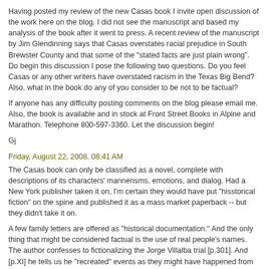Having posted my review of the new Casas book I invite open discussion of the work here on the blog. I did not see the manuscript and based my analysis of the book after it went to press. A recent review of the manuscript by Jim Glendinning says that Casas overstates racial prejudice in South Brewster County and that some of the "stated facts are just plain wrong". Do begin this discussion I pose the following two questions. Do you feel Casas or any other writers have overstated racism in the Texas Big Bend? Also, what in the book do any of you consider to be not to be factual?
If anyone has any difficulty posting comments on the blog please email me. Also, the book is available and in stock at Front Street Books in Alpine and Marathon. Telephone 800-597-3360. Let the discussion begin!
Gj
Friday, August 22, 2008, 08:41 AM
The Casas book can only be classified as a novel, complete with descriptions of its characters' mannerisms, emotions, and dialog. Had a New York publisher taken it on, I'm certain they would have put "hisstorical fiction" on the spine and published it as a mass market paperback -- but they didn't take it on.
A few family letters are offered as "historical documentation." And the only thing that might be considered factual is the use of real people's names. The author confesses to fictionalizing the Jorge Villalba trial [p.301]. And [p.XI] he tells us he "recreated" events as they might have happened from his family's perspective. But, even the author has to admit he injects his own biased "perspective." For instance[p.219]: The author -- in his own voice -- describes the prosecution witnesses as "lying sonsofabitches" and hostile -- and this without the benefit of a trial transcript which he tells us no longer exists [p.301].
Another instance[p.151]: In a fictinal setting -- again, complete with mannerisms, emotions, and dialog [and even snifters of Cardinal Mendoza brandy (!) which defense attorney Mead fusses over so eloquently]-- Frederico Villalba asks Mead, "How hard could it be to prove self-defense?"
" 'If it was the other way around and your boys were Anglo and the deceased were